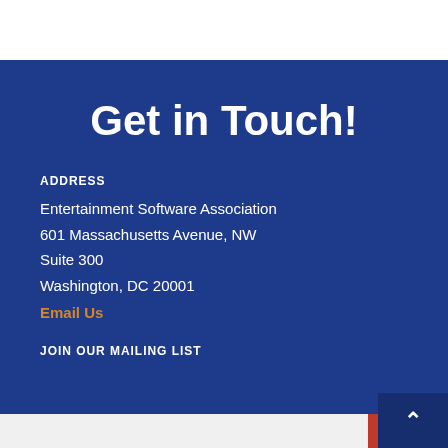Get in Touch!
ADDRESS
Entertainment Software Association
601 Massachusetts Avenue, NW
Suite 300
Washington, DC 20001
Email Us
JOIN OUR MAILING LIST